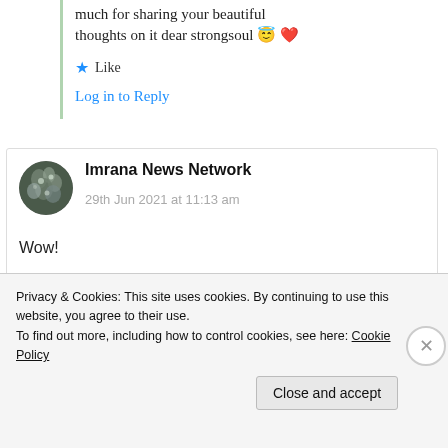much for sharing your beautiful thoughts on it dear strongsoul 😇 ❤️
★ Like
Log in to Reply
Imrana News Network
29th Jun 2021 at 11:13 am
Wow!
Nice 😊!!
Privacy & Cookies: This site uses cookies. By continuing to use this website, you agree to their use.
To find out more, including how to control cookies, see here: Cookie Policy
Close and accept